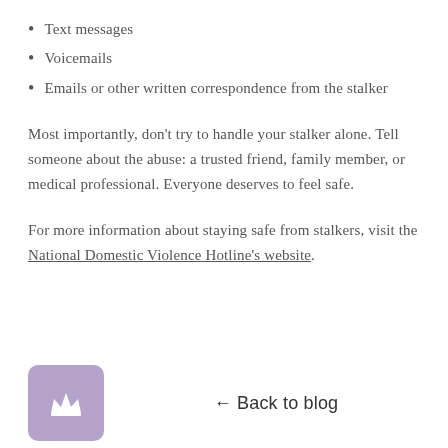Text messages
Voicemails
Emails or other written correspondence from the stalker
Most importantly, don't try to handle your stalker alone. Tell someone about the abuse: a trusted friend, family member, or medical professional. Everyone deserves to feel safe.
For more information about staying safe from stalkers, visit the National Domestic Violence Hotline's website.
← Back to blog